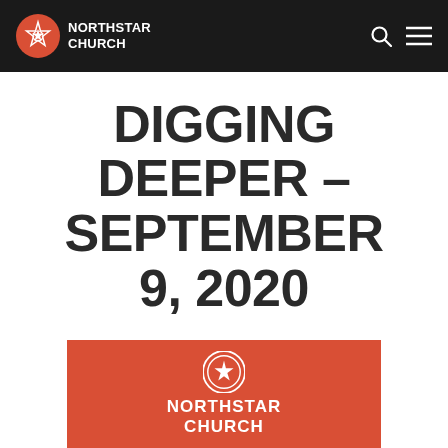NORTHSTAR CHURCH
DIGGING DEEPER – SEPTEMBER 9, 2020
[Figure (logo): Northstar Church logo on red background with white star icon and white text reading NORTHSTAR CHURCH]